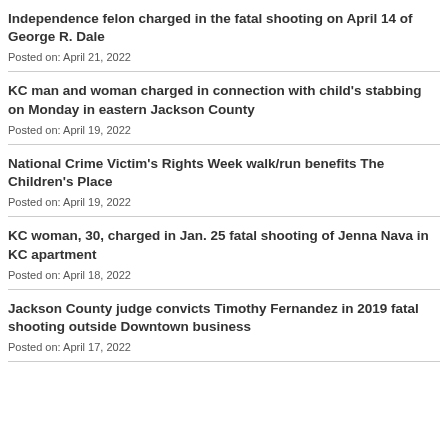Independence felon charged in the fatal shooting on April 14 of George R. Dale
Posted on: April 21, 2022
KC man and woman charged in connection with child's stabbing on Monday in eastern Jackson County
Posted on: April 19, 2022
National Crime Victim's Rights Week walk/run benefits The Children's Place
Posted on: April 19, 2022
KC woman, 30, charged in Jan. 25 fatal shooting of Jenna Nava in KC apartment
Posted on: April 18, 2022
Jackson County judge convicts Timothy Fernandez in 2019 fatal shooting outside Downtown business
Posted on: April 17, 2022